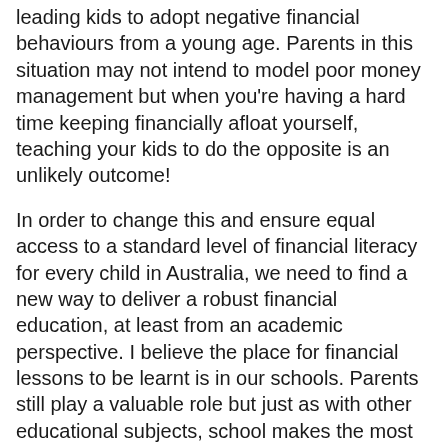leading kids to adopt negative financial behaviours from a young age. Parents in this situation may not intend to model poor money management but when you're having a hard time keeping financially afloat yourself, teaching your kids to do the opposite is an unlikely outcome!
In order to change this and ensure equal access to a standard level of financial literacy for every child in Australia, we need to find a new way to deliver a robust financial education, at least from an academic perspective. I believe the place for financial lessons to be learnt is in our schools. Parents still play a valuable role but just as with other educational subjects, school makes the most sense as the place to be taught this important life skill.
What are the real world risks for young people with limited exposure to the basics of personal finance?